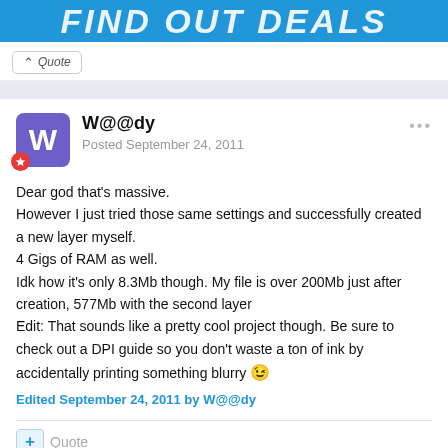[Figure (screenshot): Top blue banner with large bold italic white text, partially cut off, reading 'FIND OUT DEALS' or similar]
Quote (button with chevron up icon)
W@@dy
Posted September 24, 2011
Dear god that's massive.
However I just tried those same settings and successfully created a new layer myself.
4 Gigs of RAM as well.
Idk how it's only 8.3Mb though. My file is over 200Mb just after creation, 577Mb with the second layer
Edit: That sounds like a pretty cool project though. Be sure to check out a DPI guide so you don't waste a ton of ink by accidentally printing something blurry 😉
Edited September 24, 2011 by W@@dy
Quote (plus button)